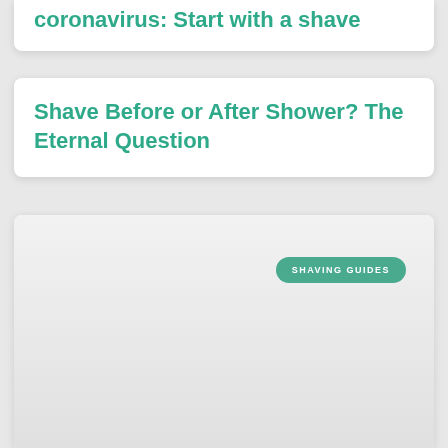coronavirus: Start with a shave
Shave Before or After Shower? The Eternal Question
SHAVING GUIDES